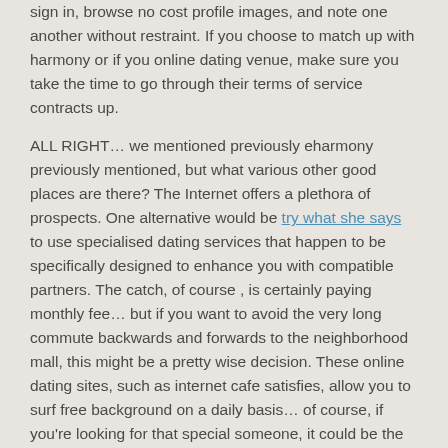sign in, browse no cost profile images, and note one another without restraint. If you choose to match up with harmony or if you online dating venue, make sure you take the time to go through their terms of service contracts up.
ALL RIGHT… we mentioned previously eharmony previously mentioned, but what various other good places are there? The Internet offers a plethora of prospects. One alternative would be try what she says to use specialised dating services that happen to be specifically designed to enhance you with compatible partners. The catch, of course , is certainly paying monthly fee… but if you want to avoid the very long commute backwards and forwards to the neighborhood mall, this might be a pretty wise decision. These online dating sites, such as internet cafe satisfies, allow you to surf free background on a daily basis… of course, if you're looking for that special someone, it could be the best way to find them.
Should you be not considering paying eharmony a monthly fee, another option for you might be to find a match using the persona test engine known as Web based Match. Online Match boasts a huge databases of